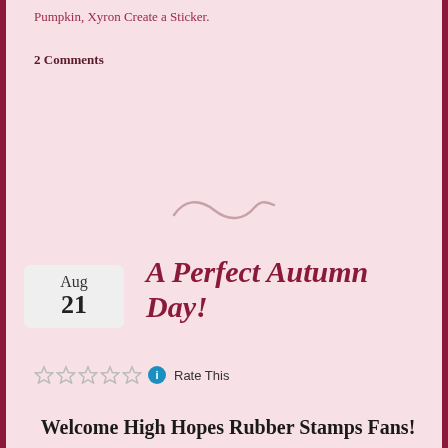Pumpkin, Xyron Create a Sticker.
2 Comments
[Figure (illustration): Decorative swirl/tilde divider in light rose/mauve color]
A Perfect Autumn Day!
Rate This
Welcome High Hopes Rubber Stamps Fans!